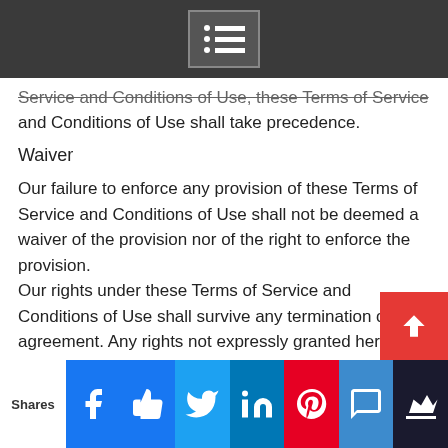Service and Conditions of Use, these Terms of Service and Conditions of Use shall take precedence.
Waiver
Our failure to enforce any provision of these Terms of Service and Conditions of Use shall not be deemed a waiver of the provision nor of the right to enforce the provision.
Our rights under these Terms of Service and Conditions of Use shall survive any termination of this agreement. Any rights not expressly granted herein are reserved to JVFocus.com.
CHANGE NOTICE:
As with any form of administrative and legal notice...